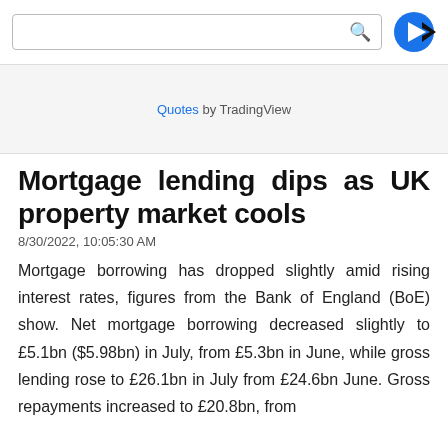[search box and logo]
Quotes by TradingView
Mortgage lending dips as UK property market cools
8/30/2022, 10:05:30 AM
Mortgage borrowing has dropped slightly amid rising interest rates, figures from the Bank of England (BoE) show. Net mortgage borrowing decreased slightly to £5.1bn ($5.98bn) in July, from £5.3bn in June, while gross lending rose to £26.1bn in July from £24.6bn June. Gross repayments increased to £20.8bn, from